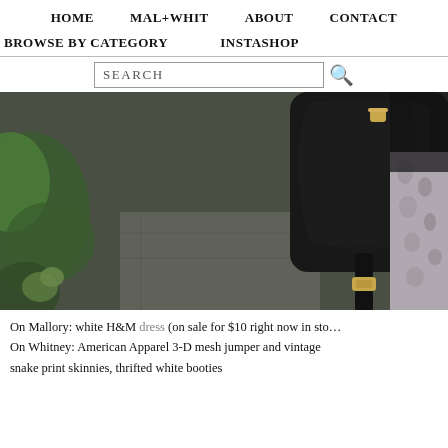HOME   MAL+WHIT   ABOUT   CONTACT
BROWSE BY CATEGORY   INSTASHOP
[Figure (photo): Close-up photograph of a black leather handbag with gold hardware, held by a person wearing snake print skinnies, against a blurred outdoor background with green foliage and a stone path.]
On Mallory: white H&M dress (on sale for $10 right now in stor... On Whitney: American Apparel 3-D mesh jumper and vintage snake print skinnies, thrifted white booties